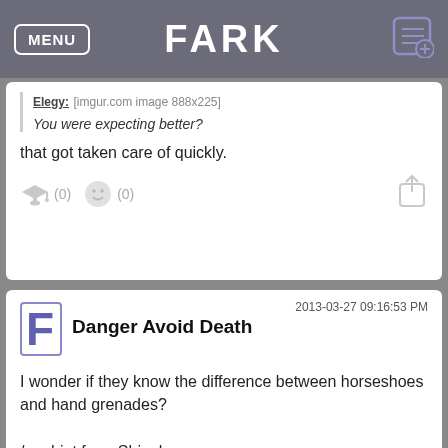MENU | FARK
Elegy: [imgur.com image 888x225]
You were expecting better?
that got taken care of quickly.
(0) (0)
2013-03-27 09:16:53 PM
Danger Avoid Death
I wonder if they know the difference between horseshoes and hand grenades?

/or shiat from Shinola.
(0) (1)